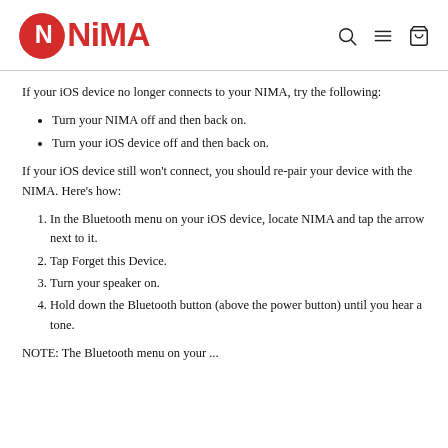[Figure (logo): NIMA brand logo in red with N in circle and stylized letters]
If your iOS device no longer connects to your NIMA, try the following:
Turn your NIMA off and then back on.
Turn your iOS device off and then back on.
If your iOS device still won't connect, you should re-pair your device with the NIMA. Here's how:
1. In the Bluetooth menu on your iOS device, locate NIMA and tap the arrow next to it.
2. Tap Forget this Device.
3. Turn your speaker on.
4. Hold down the Bluetooth button (above the power button) until you hear a tone.
NOTE: The Bluetooth menu on your...